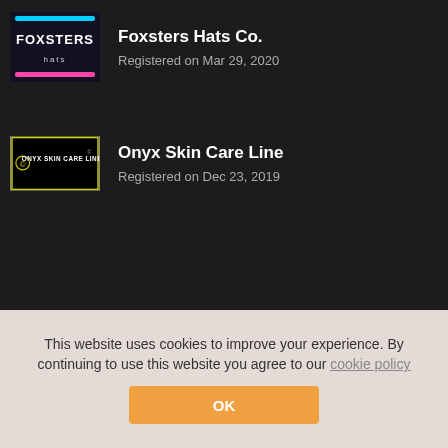[Figure (logo): Foxsters Hats Co. logo — dark background with pink/cyan neon text 'FOXSTERS hats']
Foxsters Hats Co.
Registered on Mar 29, 2020
[Figure (logo): Onyx Skin Care Line logo — white/yellow rectangular logo with text 'ONYX SKIN CARE LINE']
Onyx Skin Care Line
Registered on Dec 23, 2019
© 2018-2022 - Brandscovery. © 2017-2022 - CODEC Prime. All Rights Reserved.
User Agreement
This website uses cookies to improve your experience. By continuing to use this website you agree to our cookie policy
OK